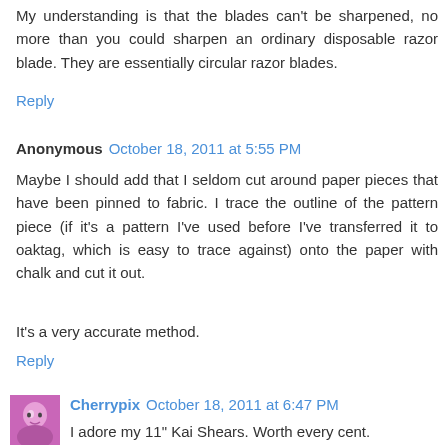My understanding is that the blades can't be sharpened, no more than you could sharpen an ordinary disposable razor blade. They are essentially circular razor blades.
Reply
Anonymous October 18, 2011 at 5:55 PM
Maybe I should add that I seldom cut around paper pieces that have been pinned to fabric. I trace the outline of the pattern piece (if it's a pattern I've used before I've transferred it to oaktag, which is easy to trace against) onto the paper with chalk and cut it out.
It's a very accurate method.
Reply
[Figure (photo): Avatar photo of Cherrypix user, small square portrait with pink/magenta tones]
Cherrypix October 18, 2011 at 6:47 PM
I adore my 11" Kai Shears. Worth every cent.